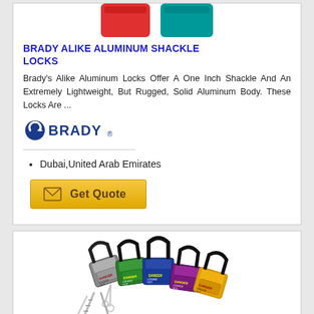BRADY ALIKE ALUMINUM SHACKLE LOCKS
Brady's Alike Aluminum Locks Offer A One Inch Shackle And An Extremely Lightweight, But Rugged, Solid Aluminum Body. These Locks Are ...
[Figure (logo): Brady brand logo in blue with circular arrow icon]
Dubai,United Arab Emirates
[Figure (photo): Multiple colored safety padlocks with keys fanned out, DANGER LOCKED OUT labels visible]
[Figure (photo): Red and teal/blue colored Brady aluminum shackle locks at top of page (partial)]